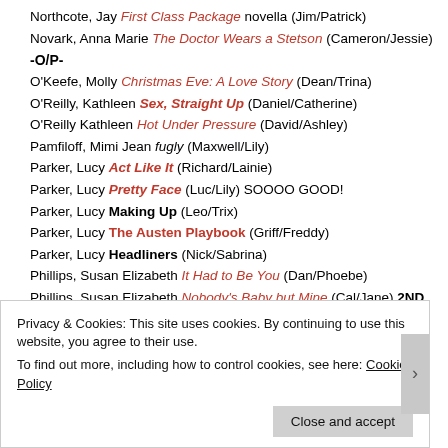Northcote, Jay First Class Package novella (Jim/Patrick)
Novark, Anna Marie The Doctor Wears a Stetson (Cameron/Jessie)
-O/P-
O'Keefe, Molly Christmas Eve: A Love Story (Dean/Trina)
O'Reilly, Kathleen Sex, Straight Up (Daniel/Catherine)
O'Reilly Kathleen Hot Under Pressure (David/Ashley)
Pamfiloff, Mimi Jean fugly (Maxwell/Lily)
Parker, Lucy Act Like It (Richard/Lainie)
Parker, Lucy Pretty Face (Luc/Lily) SOOOO GOOD!
Parker, Lucy Making Up (Leo/Trix)
Parker, Lucy The Austen Playbook (Griff/Freddy)
Parker, Lucy Headliners (Nick/Sabrina)
Phillips, Susan Elizabeth It Had to Be You (Dan/Phoebe)
Phillips, Susan Elizabeth Nobody's Baby but Mine (Cal/Jane) 2ND WOR
Phillips, Susan Elizabeth This Heart of Mine (Kevin/Molly) WORST HER
Privacy & Cookies: This site uses cookies. By continuing to use this website, you agree to their use.
To find out more, including how to control cookies, see here: Cookie Policy
Close and accept